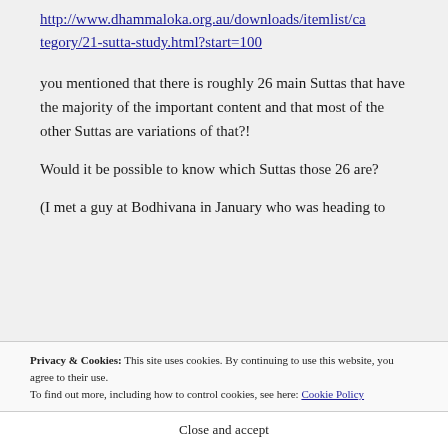http://www.dhammaloka.org.au/downloads/itemlist/category/21-sutta-study.html?start=100
you mentioned that there is roughly 26 main Suttas that have the majority of the important content and that most of the other Suttas are variations of that?!
Would it be possible to know which Suttas those 26 are?
(I met a guy at Bodhivana in January who was heading to
Privacy & Cookies: This site uses cookies. By continuing to use this website, you agree to their use.
To find out more, including how to control cookies, see here: Cookie Policy
Close and accept